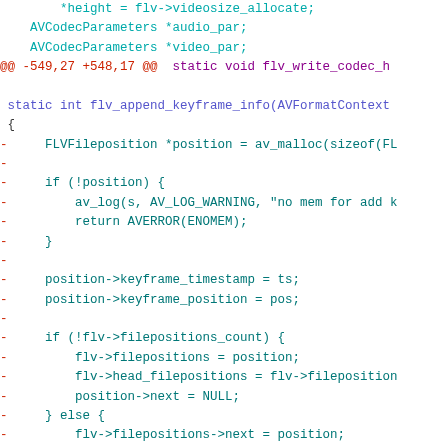[Figure (screenshot): Source code diff view showing C code for a media muxer, with removed lines in red/dark-cyan and added lines in green, on white background]
AVCodecParameters *audio_par;
    AVCodecParameters *video_par;
@@ -549,27 +548,17 @@  static void flv_write_codec_h

 static int flv_append_keyframe_info(AVFormatContext
 {
-      FLVFileposition *position = av_malloc(sizeof(FL
-
-      if (!position) {
-            av_log(s, AV_LOG_WARNING, "no mem for add k
-            return AVERROR(ENOMEM);
-      }
-
-      position->keyframe_timestamp = ts;
-      position->keyframe_position = pos;
-
-      if (!flv->filepositions_count) {
-            flv->filepositions = position;
-            flv->head_filepositions = flv->fileposition
-            position->next = NULL;
-      } else {
-            flv->filepositions->next = position;
-            position->next = NULL;
-            flv->filepositions = flv->filepositions->ne
+      int ret = av_fast_realloc_array(&flv->fileposit
+                                      &flv->fileposit
+                                      flv->filepositi
+                                      UINT_MAX - 1,
+                                      sizeof(*flv->fi
+      if (ret < 0) {